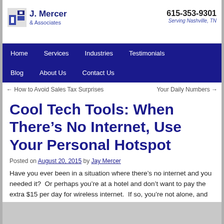J. Mercer & Associates | 615-353-9301 | Serving Nashville, TN
Home | Services | Industries | Testimonials | Blog | About Us | Contact Us
← How to Avoid Sales Tax Surprises    Your Daily Numbers →
Cool Tech Tools: When There's No Internet, Use Your Personal Hotspot
Posted on August 20, 2015 by Jay Mercer
Have you ever been in a situation where there's no internet and you needed it?  Or perhaps you're at a hotel and don't want to pay the extra $15 per day for wireless internet.  If so, you're not alone, and